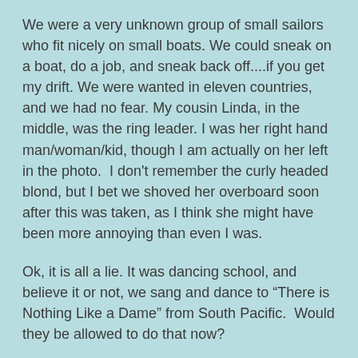We were a very unknown group of small sailors who fit nicely on small boats. We could sneak on a boat, do a job, and sneak back off....if you get my drift. We were wanted in eleven countries, and we had no fear. My cousin Linda, in the middle, was the ring leader. I was her right hand man/woman/kid, though I am actually on her left in the photo.  I don't remember the curly headed blond, but I bet we shoved her overboard soon after this was taken, as I think she might have been more annoying than even I was.
Ok, it is all a lie. It was dancing school, and believe it or not, we sang and dance to “There is Nothing Like a Dame” from South Pacific.  Would they be allowed to do that now?
We’ve got sunlight on the sand
We’ve got moonlight on the sea
We’ve got mangoes and bananas we can pick right off a